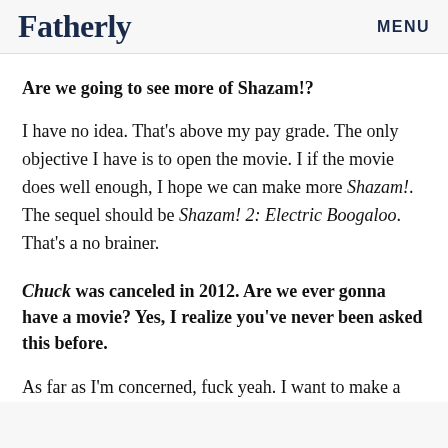Fatherly   MENU
Are we going to see more of Shazam!?
I have no idea. That's above my pay grade. The only objective I have is to open the movie. I if the movie does well enough, I hope we can make more Shazam!. The sequel should be Shazam! 2: Electric Boogaloo. That's a no brainer.
Chuck was canceled in 2012. Are we ever gonna have a movie? Yes, I realize you've never been asked this before.
As far as I'm concerned, fuck yeah. I want to make a